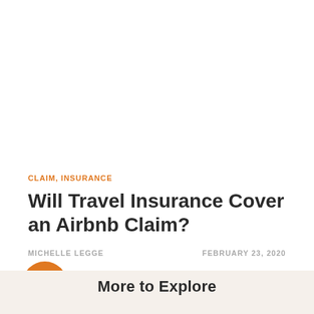CLAIM, INSURANCE
Will Travel Insurance Cover an Airbnb Claim?
MICHELLE LEGGE
FEBRUARY 23, 2020
More to Explore